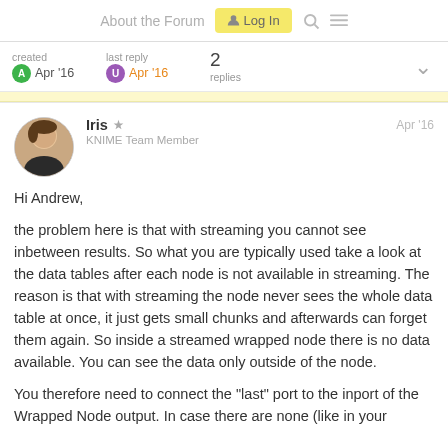About the Forum  Log In
created  A Apr '16   last reply  U Apr '16   2 replies
Iris  KNIME Team Member   Apr '16

Hi Andrew,

the problem here is that with streaming you cannot see inbetween results. So what you are typically used take a look at the data tables after each node is not available in streaming. The reason is that with streaming the node never sees the whole data table at once, it just gets small chunks and afterwards can forget them again. So inside a streamed wrapped node there is no data available. You can see the data only outside of the node.

You therefore need to connect the "last" port to the inport of the Wrapped Node output. In case there are none (like in your